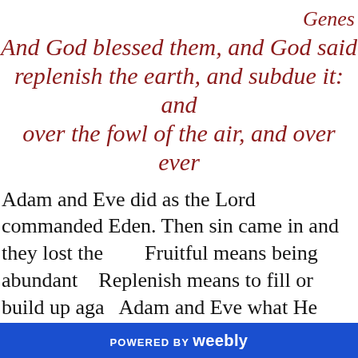Genesis
And God blessed them, and God said replenish the earth, and subdue it: and over the fowl of the air, and over ever
Adam and Eve did as the Lord commanded Eden. Then sin came in and they lost the Fruitful means being abundant Replenish means to fill or build up again Adam and Eve what He wanted from them When God speaks to you Most everyone has heard that it was Adam careful about every scripture that we understand only get half of the meaning. Make your studying when you read a part that is a
POWERED BY weebly